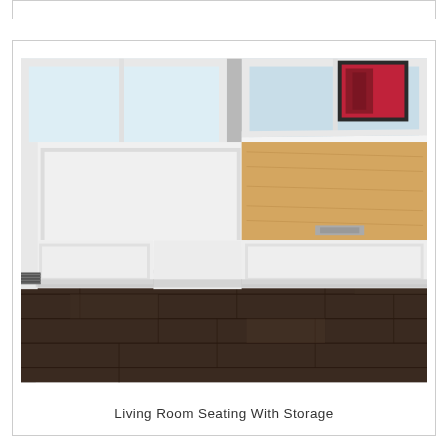[Figure (photo): An L-shaped white built-in bench with storage, photographed in a room with dark hardwood floors and windows. The right section of the bench has its lid open, revealing a wooden storage compartment interior. The bench has paneled sides and a clean white finish.]
Living Room Seating With Storage